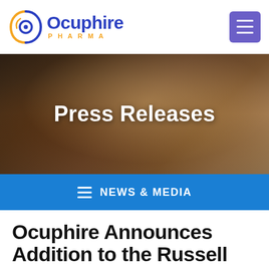[Figure (logo): Ocuphire Pharma logo with circular swirl icon in blue and orange]
[Figure (photo): Mother and child smiling together in warm low light, with 'Press Releases' text overlay]
NEWS & MEDIA
Ocuphire Announces Addition to the Russell